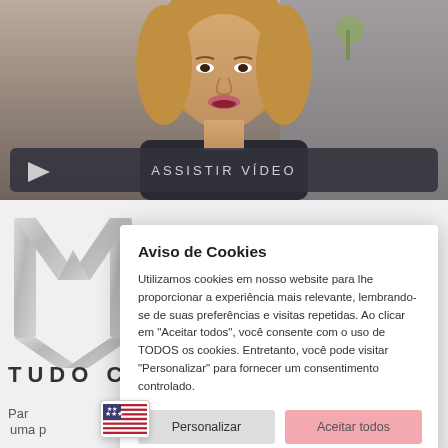[Figure (screenshot): Video thumbnail showing a woman, with a dark play bar overlay reading ASSISTIR VÍDEO]
[Figure (screenshot): Website background with large M logo and text TUDO C... and partial text Participando de uma p... sabedoria milenar coreana.]
Aviso de Cookies
Utilizamos cookies em nosso website para lhe proporcionar a experiência mais relevante, lembrando-se de suas preferências e visitas repetidas. Ao clicar em "Aceitar todos", você consente com o uso de TODOS os cookies. Entretanto, você pode visitar "Personalizar" para fornecer um consentimento controlado.
Personalizar
Aceitar todos